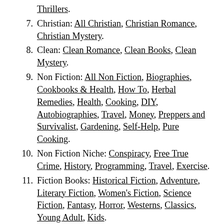Thrillers.
7. Christian: All Christian, Christian Romance, Christian Mystery.
8. Clean: Clean Romance, Clean Books, Clean Mystery.
9. Non Fiction: All Non Fiction, Biographies, Cookbooks & Health, How To, Herbal Remedies, Health, Cooking, DIY, Autobiographies, Travel, Money, Preppers and Survivalist, Gardening, Self-Help, Pure Cooking.
10. Non Fiction Niche: Conspiracy, Free True Crime, History, Programming, Travel, Exercise.
11. Fiction Books: Historical Fiction, Adventure, Literary Fiction, Women's Fiction, Science Fiction, Fantasy, Horror, Westerns, Classics, Young Adult, Kids.
12. Deals Only